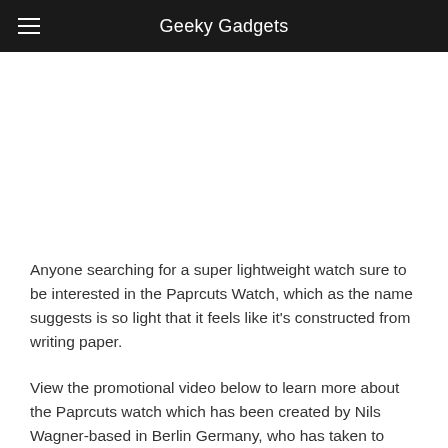Geeky Gadgets
Anyone searching for a super lightweight watch sure to be interested in the Paprcuts Watch, which as the name suggests is so light that it feels like it's constructed from writing paper.
View the promotional video below to learn more about the Paprcuts watch which has been created by Nils Wagner-based in Berlin Germany, who has taken to Indiegogo to raise the required funds to take his unique watch into production.
The campaign was fully funded in less than 80 hours but is still